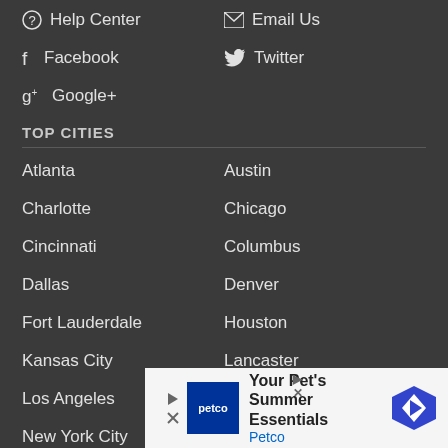Help Center
Email Us
Facebook
Twitter
Google+
TOP CITIES
Atlanta
Austin
Charlotte
Chicago
Cincinnati
Columbus
Dallas
Denver
Fort Lauderdale
Houston
Kansas City
Lancaster
Los Angeles
Nashville
New York City
Orlando
Phoenix
[Figure (other): Petco advertisement banner: Your Pet's Summer Essentials - Petco]